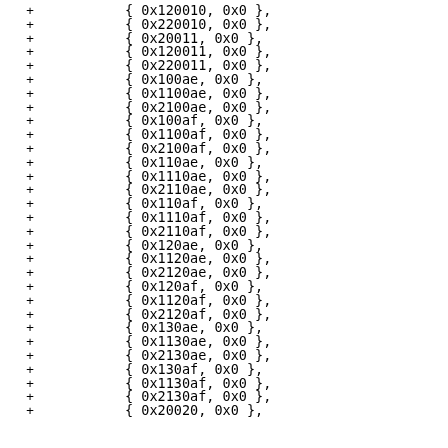+         { 0x120010, 0x0 },
+         { 0x220010, 0x0 },
+         { 0x20011, 0x0 },
+         { 0x120011, 0x0 },
+         { 0x220011, 0x0 },
+         { 0x100ae, 0x0 },
+         { 0x1100ae, 0x0 },
+         { 0x2100ae, 0x0 },
+         { 0x100af, 0x0 },
+         { 0x1100af, 0x0 },
+         { 0x2100af, 0x0 },
+         { 0x110ae, 0x0 },
+         { 0x1110ae, 0x0 },
+         { 0x2110ae, 0x0 },
+         { 0x110af, 0x0 },
+         { 0x1110af, 0x0 },
+         { 0x2110af, 0x0 },
+         { 0x120ae, 0x0 },
+         { 0x1120ae, 0x0 },
+         { 0x2120ae, 0x0 },
+         { 0x120af, 0x0 },
+         { 0x1120af, 0x0 },
+         { 0x2120af, 0x0 },
+         { 0x130ae, 0x0 },
+         { 0x1130ae, 0x0 },
+         { 0x2130ae, 0x0 },
+         { 0x130af, 0x0 },
+         { 0x1130af, 0x0 },
+         { 0x2130af, 0x0 },
+         { 0x20020, 0x0 },